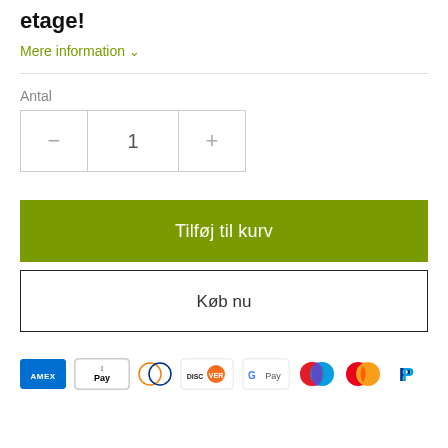etage!
Mere information ˅
Antal
1
Tilføj til kurv
Køb nu
[Figure (other): Payment method icons: American Express, Apple Pay, Diners Club, Discover, Google Pay, Maestro, Mastercard, PayPal]